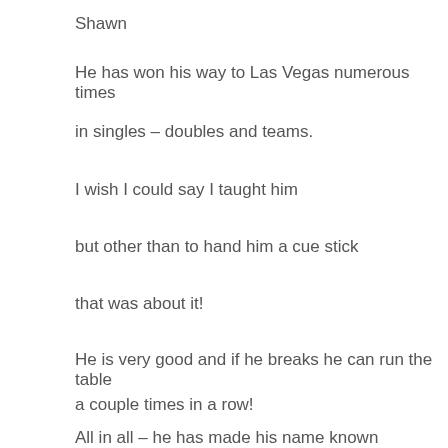Shawn
He has won his way to Las Vegas numerous times
in singles – doubles and teams.
I wish I could say I taught him
but other than to hand him a cue stick
that was about it!
He is very good and if he breaks he can run the table
a couple times in a row!
All in all – he has made his name known